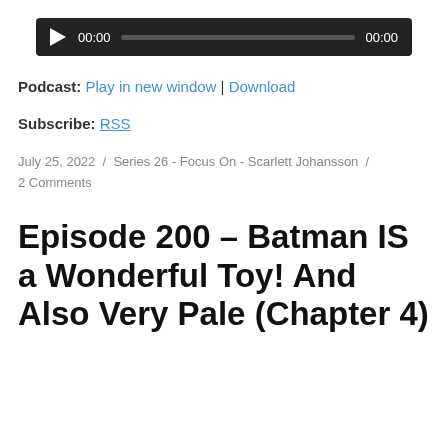[Figure (other): Audio player widget with dark background, play button, time display showing 00:00, progress bar, and end time 00:00]
Podcast: Play in new window | Download
Subscribe: RSS
July 25, 2022  /  Series 26 - Focus On - Scarlett Johansson  /  2 Comments
Episode 200 – Batman IS a Wonderful Toy! And Also Very Pale (Chapter 4)